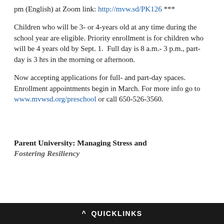pm (English) at Zoom link: http://mvw.sd/PK126 ***
Children who will be 3- or 4-years old at any time during the school year are eligible. Priority enrollment is for children who will be 4 years old by Sept. 1.  Full day is 8 a.m.- 3 p.m., part-day is 3 hrs in the morning or afternoon.
Now accepting applications for full- and part-day spaces. Enrollment appointments begin in March. For more info go to www.mvwsd.org/preschool or call 650-526-3560.
Parent University: Managing Stress and Fostering Resiliency
^ QUICKLINKS